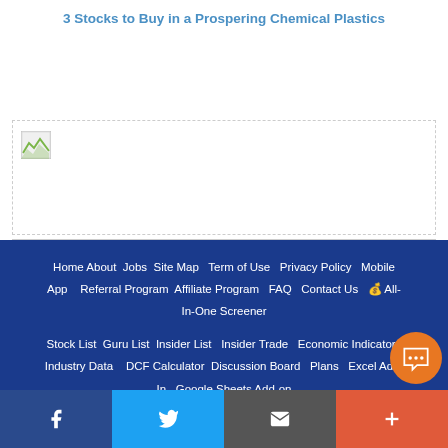3 Stocks to Buy in a Prospering Chemical Plastics
[Figure (other): Broken/unloaded image placeholder inside a dashed border box]
Home  About  Jobs  Site Map  Term of Use  Privacy Policy  Mobile App  Referral Program  Affiliate Program  FAQ  Contact Us  All-In-One Screener

Stock List  Guru List  Insider List  Insider Trade  Economic Indicators  Industry Data  DCF Calculator  Discussion Board  Plans  Excel Add-In  Google Sheets Add-on

© 2004-2022 GuruFocus.com, LLC. All Rights Reserved.